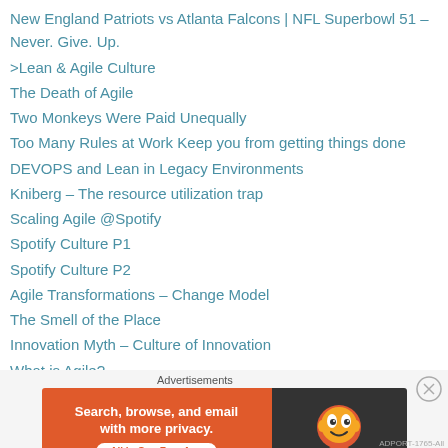New England Patriots vs Atlanta Falcons | NFL Superbowl 51 – Never. Give. Up.
>Lean & Agile Culture
The Death of Agile
Two Monkeys Were Paid Unequally
Too Many Rules at Work Keep you from getting things done
DEVOPS and Lean in Legacy Environments
Kniberg – The resource utilization trap
Scaling Agile @Spotify
Spotify Culture P1
Spotify Culture P2
Agile Transformations – Change Model
The Smell of the Place
Innovation Myth – Culture of Innovation
What is Agile?
>SAFe
>SAFe PI Planning Examples
[Figure (screenshot): DuckDuckGo advertisement banner: 'Search, browse, and email with more privacy. All in One Free App' with DuckDuckGo logo on dark background, labeled 'Advertisements']